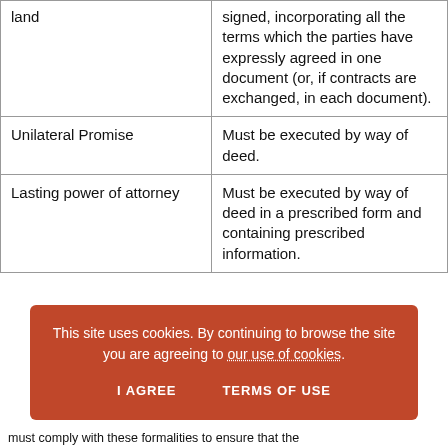| land | signed, incorporating all the terms which the parties have expressly agreed in one document (or, if contracts are exchanged, in each document). |
| Unilateral Promise | Must be executed by way of deed. |
| Lasting power of attorney | Must be executed by way of deed in a prescribed form and containing prescribed information. |
This site uses cookies. By continuing to browse the site you are agreeing to our use of cookies.
must comply with these formalities to ensure that the